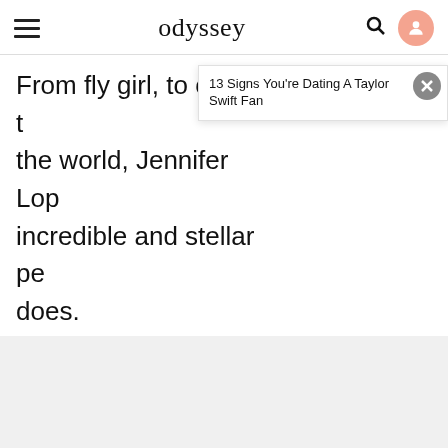odyssey
From fly girl, to one of the most influential entertainers in the world, Jennifer Lopez has had an incredible and stellar performing career. She still does.
13 Signs You're Dating A Taylor Swift Fan
KEEP READING...
[Figure (other): Social share icons: Facebook, Twitter, Pinterest, Email, Flipboard]